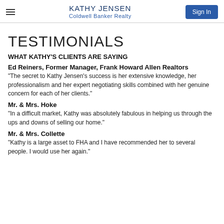KATHY JENSEN
Coldwell Banker Realty
TESTIMONIALS
WHAT KATHY'S CLIENTS ARE SAYING
Ed Reiners, Former Manager, Frank Howard Allen Realtors
"The secret to Kathy Jensen's success is her extensive knowledge, her professionalism and her expert negotiating skills combined with her genuine concern for each of her clients."
Mr. & Mrs. Hoke
"In a difficult market, Kathy was absolutely fabulous in helping us through the ups and downs of selling our home."
Mr. & Mrs. Collette
"Kathy is a large asset to FHA and I have recommended her to several people. I would use her again."